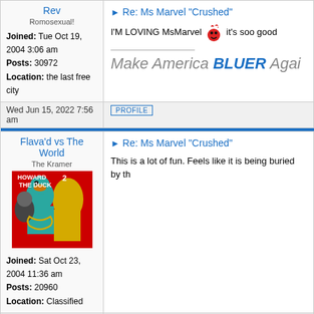Rev
Romosexual!
Joined: Tue Oct 19, 2004 3:06 am
Posts: 30972
Location: the last free city
Re: Ms Marvel "Crushed"
I'M LOVING MsMarvel  it's soo good
Make America BLUER Agai
Wed Jun 15, 2022 7:56 am
PROFILE
Flava'd vs The World
The Kramer
[Figure (illustration): Howard the Duck comic book style illustration with characters]
Joined: Sat Oct 23, 2004 11:36 am
Posts: 20960
Location: Classified
Re: Ms Marvel "Crushed"
This is a lot of fun. Feels like it is being buried by th
Sun Jun 19, 2022 9:01 pm
PROFILE
zwackerm
Re: Ms Marvel "Destined"